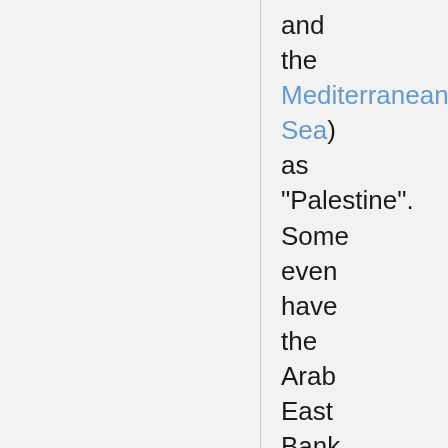and the Mediterranean Sea) as "Palestine". Some even have the Arab East Bank Palestine/Hashimite Kingdom